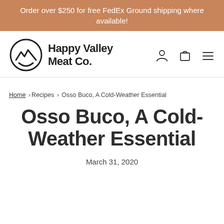Order over $250 for free FedEx Ground shipping where available!
[Figure (logo): Happy Valley Meat Co. logo with mountain and smile icon, plus navigation icons for account, cart, and menu]
Home › Recipes › Osso Buco, A Cold-Weather Essential
Osso Buco, A Cold-Weather Essential
March 31, 2020